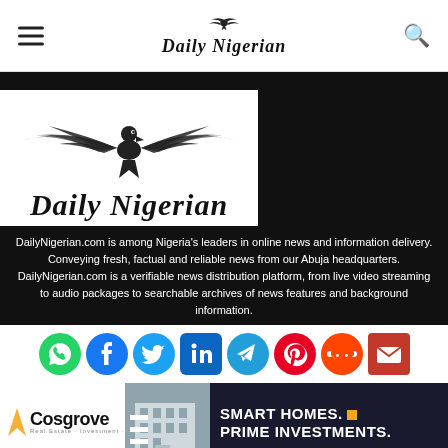Daily Nigerian
[Figure (logo): Daily Nigerian newspaper logo with eagle and gothic text]
DailyNigerian.com is among Nigeria’s leaders in online news and information delivery. Conveying fresh, factual and reliable news from our Abuja headquarters. DailyNigerian.com is a verifiable news distribution platform, from live video streaming to audio packages to searchable archives of news features and background information.
[Figure (infographic): Social media share icons: WhatsApp, Facebook, Twitter, LinkedIn, Telegram, Pinterest, Reddit, Email]
[Figure (photo): Cosgrove real estate advertisement banner with building photo and text: SMART HOMES. PRIME INVESTMENTS.]